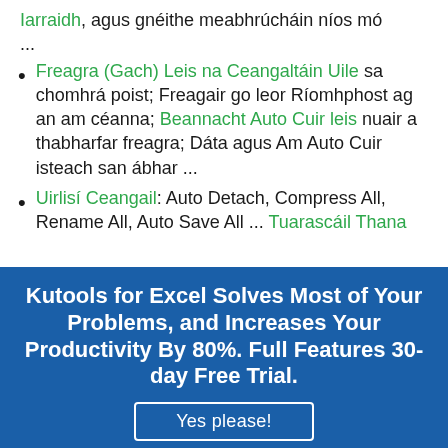Iarraidh, agus gnéithe meabhrúcháin níos mó ...
Freagra (Gach) Leis na Ceangaltáin Uile sa chomhrá poist; Freagair go leor Ríomhphost ag an am céanna; Beannacht Auto Cuir leis nuair a thabharfar freagra; Dáta agus Am Auto Cuir isteach san ábhar ...
Uirlisí Ceangail: Auto Detach, Compress All, Rename All, Auto Save All... Tuarascáil Thana
Kutools for Excel Solves Most of Your Problems, and Increases Your Productivity By 80%. Full Features 30-day Free Trial.
Yes please!